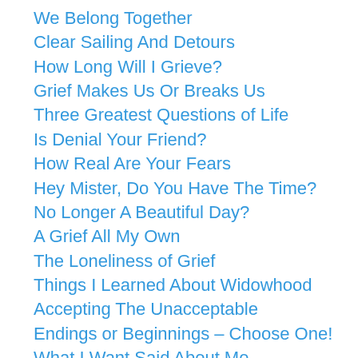We Belong Together
Clear Sailing And Detours
How Long Will I Grieve?
Grief Makes Us Or Breaks Us
Three Greatest Questions of Life
Is Denial Your Friend?
How Real Are Your Fears
Hey Mister, Do You Have The Time?
No Longer A Beautiful Day?
A Grief All My Own
The Loneliness of Grief
Things I Learned About Widowhood
Accepting The Unacceptable
Endings or Beginnings – Choose One!
What I Want Said About Me